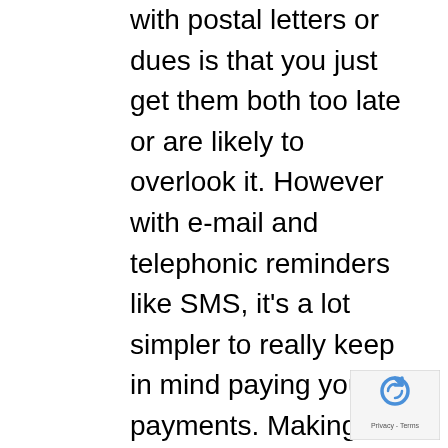with postal letters or dues is that you just get them both too late or are likely to overlook it. However with e-mail and telephonic reminders like SMS, it's a lot simpler to really keep in mind paying your payments. Making the fee Now there is a two-fold means of constructing your bank card funds. The standard technique is heading to the financial institution or dropping off a verify within the identify of your financial institution on the nearest dropbox, which is once more a cumbersome and time consuming affair. Processing time is normally 2-Three days, which implies that if you're late, not solely will it present in your credit score historical past but in addition means high-quality or larger rates of interest for you. The second and the newer mode of funds right here embrace on-line
[Figure (other): reCAPTCHA badge with Privacy and Terms links]